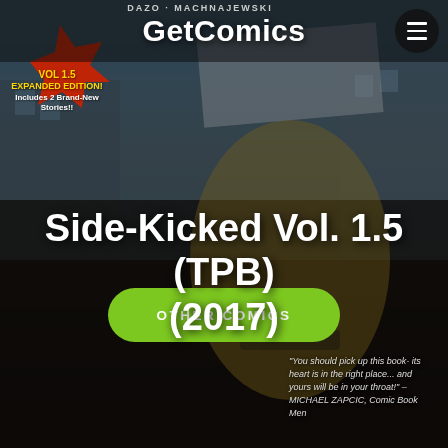DAZO · MACHNAJEWSKI
[Figure (illustration): Comic book cover art background showing a muscular hero character in yellow and black costume holding a pole/staff, with urban background. Partially obscured/darkened. Starburst badge reads VOL 1.5 EXPANDED EDITION! Includes 2 Brand-New Stories!!]
GetComics
OTHER COMICS
Side-Kicked Vol. 1.5 (TPB) (2017)
"You should pick up this book- its heart is in the right place... and yours will be in your throat!" – MICHAEL ZAPCIC, Comic Book Men